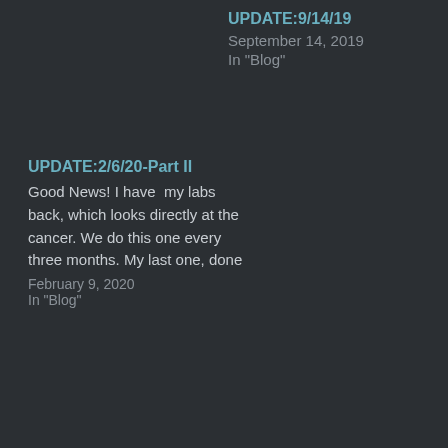UPDATE:9/14/19
September 14, 2019
In "Blog"
UPDATE:2/6/20-Part II
Good News! I have  my labs back, which looks directly at the cancer. We do this one every three months. My last one, done
February 9, 2020
In "Blog"
J. Michael Jones  ·  September 30, 2020  ·  Blog
Published by J. Michael Jones
J. Michael Jones is a writer and PA who lives in